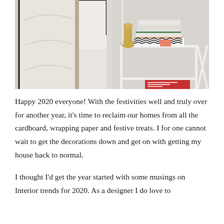[Figure (photo): Interior bedroom photo showing a white upholstered headboard with black trim on the left, and a white geometric nightstand/side table on the right with stacked magazines and books on top (including a black-and-white chevron patterned book and a gold vase), and more magazines on the lower shelf including a red issue. The scene is styled in a modern, elegant bedroom setting.]
Happy 2020 everyone! With the festivities well and truly over for another year, it's time to reclaim our homes from all the cardboard, wrapping paper and festive treats. I for one cannot wait to get the decorations down and get on with getting my house back to normal.
I thought I'd get the year started with some musings on Interior trends for 2020. As a designer I do love to